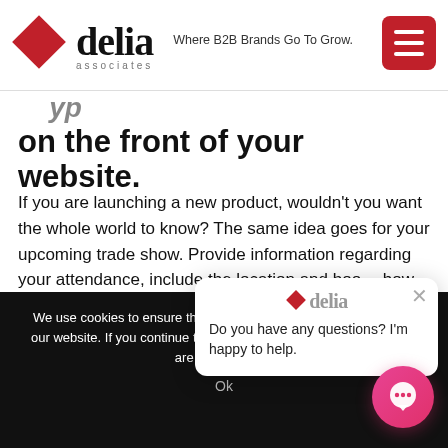delia associates — Where B2B Brands Go To Grow.
on the front of your website.
If you are launching a new product, wouldn't you want the whole world to know? The same idea goes for your upcoming trade show. Provide information regarding your attendance, include the location and boo… how to find you. Keep… date with the latest…
[Figure (other): Chat popup widget with delia logo and message: Do you have any questions? I'm happy to help.]
We use cookies to ensure that we give you the best experience on our website. If you continue to use this site we will assume that you are happy with it. Ok